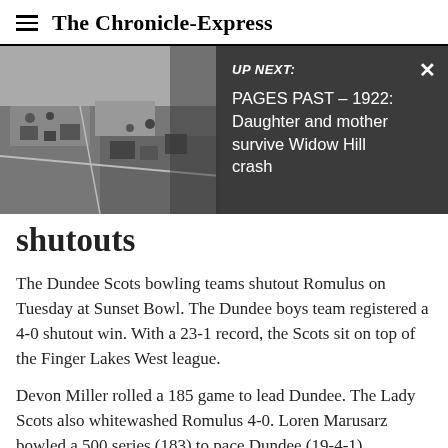The Chronicle-Express
[Figure (photo): Aerial black and white photograph of a rural area with buildings and fields, partially obscured by a dark overlay panel.]
UP NEXT: PAGES PAST – 1922: Daughter and mother survive Widow Hill crash
shutouts
The Dundee Scots bowling teams shutout Romulus on Tuesday at Sunset Bowl. The Dundee boys team registered a 4-0 shutout win. With a 23-1 record, the Scots sit on top of the Finger Lakes West league.
Devon Miller rolled a 185 game to lead Dundee. The Lady Scots also whitewashed Romulus 4-0. Loren Marusarz bowled a 500 series (183) to pace Dundee (19-4-1).